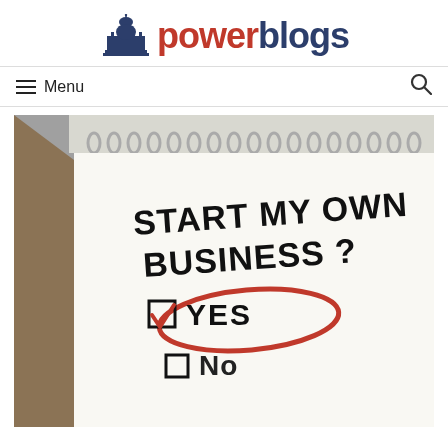[Figure (logo): PowerBlogs logo: capitol building icon in navy blue on left, then 'power' in red bold text and 'blogs' in navy bold text]
≡ Menu
[Figure (photo): A spiral notebook open to a page with handwritten text: 'START MY OWN BUSINESS?' with a checkbox circled in red with a checkmark next to 'YES' and an unchecked box next to 'No']